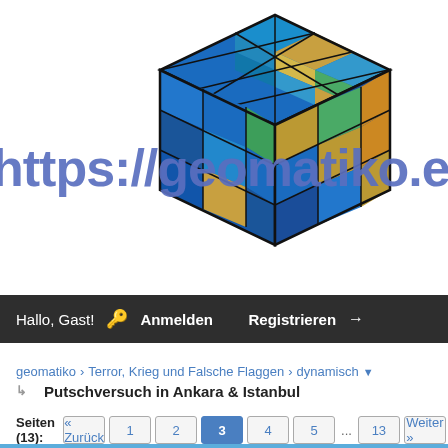[Figure (illustration): Rubik's cube with world map texture on its faces, shown from a 3/4 angle with blue oceans and colored landmasses visible on the cube facets.]
https://geomatiko.eu
Hallo, Gast! 🔑 Anmelden  Registrieren →
geomatiko › Terror, Krieg und Falsche Flaggen › dynamisch ▼
Putschversuch in Ankara & Istanbul
Seiten (13):  « Zurück  1  2  3  4  5  ...  13  Weiter »  ▼